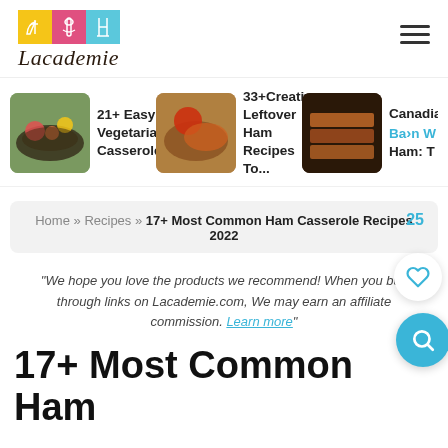[Figure (logo): Lacademie logo with three colored tiles (yellow, pink, blue) and cursive text 'Lacademie']
[Figure (illustration): Hamburger menu icon with three horizontal lines]
[Figure (photo): Thumbnail of vegetarian casserole dish]
21+ Easy Vegetarian Casseroles...
[Figure (photo): Thumbnail of leftover ham recipe dish]
33+Creative Leftover Ham Recipes To...
[Figure (photo): Thumbnail of Canadian bacon/ham dish]
Canadian Ba>n W Ham: T
Home » Recipes » 17+ Most Common Ham Casserole Recipes 2022
"We hope you love the products we recommend! When you buy through links on Lacademie.com, We may earn an affiliate commission. Learn more"
17+ Most Common Ham